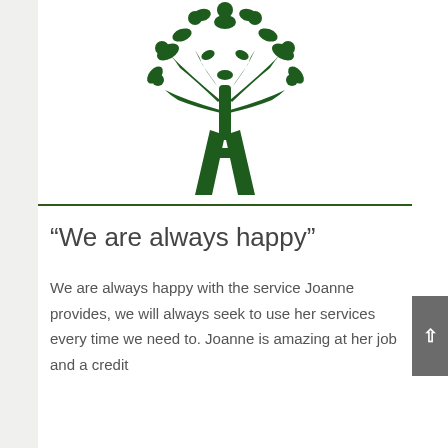[Figure (logo): Green tree/person logo with stylized letter A forming the trunk, leaves and circular fruits at top]
“We are always happy”
We are always happy with the service Joanne provides, we will always seek to use her services every time we need to. Joanne is amazing at her job and a credit